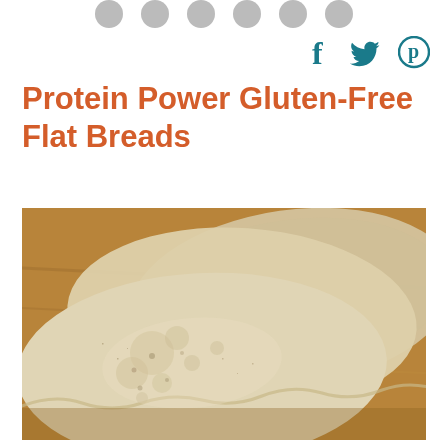[Figure (illustration): Social media share icons: Facebook (f), Twitter (bird), Pinterest (P) in teal color]
Protein Power Gluten-Free Flat Breads
[Figure (photo): Close-up photo of gluten-free flat breads, light tan/beige color, slightly blistered surface, stacked on a wooden surface]